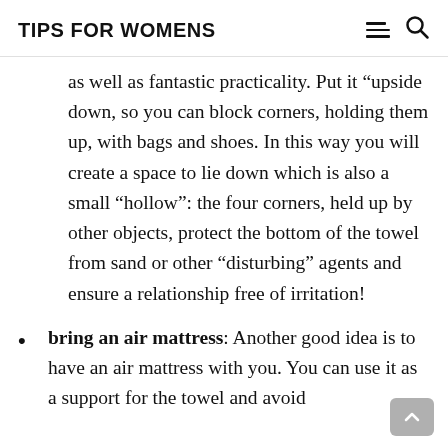TIPS FOR WOMENS
as well as fantastic practicality. Put it “upside down, so you can block corners, holding them up, with bags and shoes. In this way you will create a space to lie down which is also a small “hollow”: the four corners, held up by other objects, protect the bottom of the towel from sand or other “disturbing” agents and ensure a relationship free of irritation!
bring an air mattress: Another good idea is to have an air mattress with you. You can use it as a support for the towel and avoid